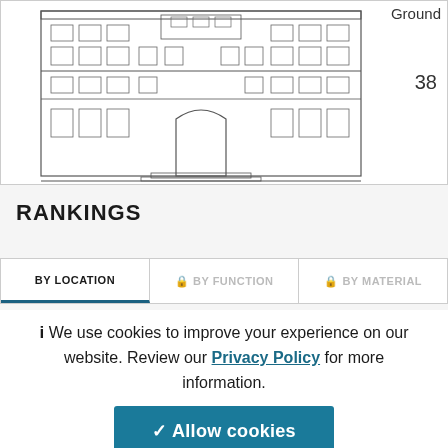[Figure (illustration): Architectural front elevation drawing of a classical multi-story building with arched entrance, ornamental windows, and decorative facade. 'Ground' label and number '38' appear to the right.]
RANKINGS
| BY LOCATION | BY FUNCTION | BY MATERIAL |
| --- | --- | --- |
We use cookies to improve your experience on our website. Review our Privacy Policy for more information.
✓ Allow cookies
CONSTRUCTION SCHEDULE